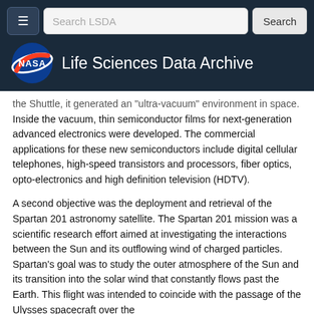NASA Life Sciences Data Archive
the Shuttle, it generated an "ultra-vacuum" environment in space. Inside the vacuum, thin semiconductor films for next-generation advanced electronics were developed. The commercial applications for these new semiconductors include digital cellular telephones, high-speed transistors and processors, fiber optics, opto-electronics and high definition television (HDTV).
A second objective was the deployment and retrieval of the Spartan 201 astronomy satellite. The Spartan 201 mission was a scientific research effort aimed at investigating the interactions between the Sun and its outflowing wind of charged particles. Spartan's goal was to study the outer atmosphere of the Sun and its transition into the solar wind that constantly flows past the Earth. This flight was intended to coincide with the passage of the Ulysses spacecraft over the